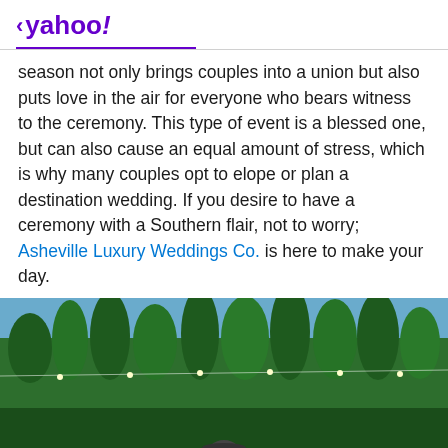< yahoo!
season not only brings couples into a union but also puts love in the air for everyone who bears witness to the ceremony. This type of event is a blessed one, but can also cause an equal amount of stress, which is why many couples opt to elope or plan a destination wedding. If you desire to have a ceremony with a Southern flair, not to worry; Asheville Luxury Weddings Co. is here to make your day.
[Figure (photo): Outdoor photo of tall green trees against a blue sky, with string lights visible, and a partial view of a person in a hat at the bottom center.]
View comments